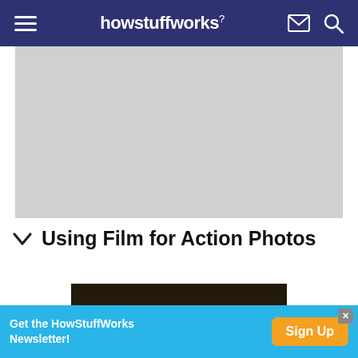howstuffworks
[Figure (photo): Gray placeholder image area]
Using Film for Action Photos
[Figure (photo): Dark brown/black photo, partially visible]
Get the HowStuffWorks Newsletter!
Sign Up